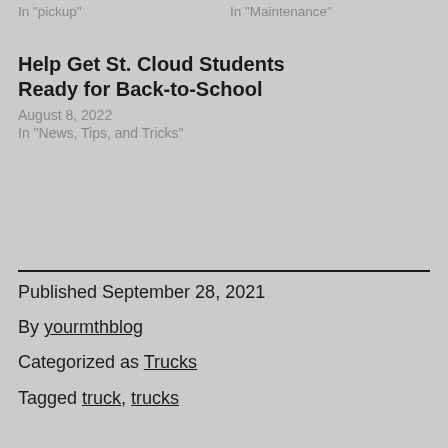In "pickup"
In "Maintenance"
Help Get St. Cloud Students Ready for Back-to-School
August 8, 2022
In "News, Tips, and Tricks"
Published September 28, 2021
By yourmthblog
Categorized as Trucks
Tagged truck, trucks